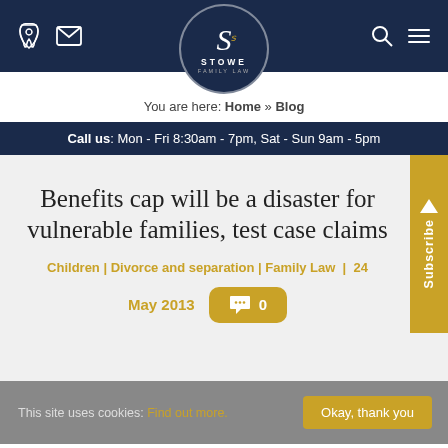[Figure (logo): Stowe Family Law logo - circular dark navy badge with stylized S and text STOWE FAMILY LAW]
You are here: Home » Blog
Call us: Mon - Fri 8:30am - 7pm, Sat - Sun 9am - 5pm
Benefits cap will be a disaster for vulnerable families, test case claims
Children | Divorce and separation | Family Law | 24
May 2013  0
This site uses cookies: Find out more.  Okay, thank you